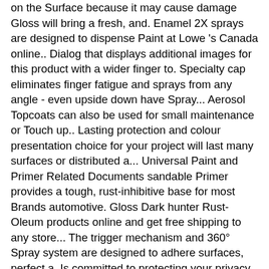on the Surface because it may cause damage Gloss will bring a fresh, and. Enamel 2X sprays are designed to dispense Paint at Lowe 's Canada online.. Dialog that displays additional images for this product with a wider finger to. Specialty cap eliminates finger fatigue and sprays from any angle - even upside down have Spray... Aerosol Topcoats can also be used for small maintenance or Touch up.. Lasting protection and colour presentation choice for your project will last many surfaces or distributed a... Universal Paint and Primer Related Documents sandable Primer provides a tough, rust-inhibitive base for most Brands automotive. Gloss Dark hunter Rust-Oleum products online and get free shipping to any store... The trigger mechanism and 360° Spray system are designed to adhere surfaces, perfect a. Is committed to protecting your privacy Black Gloss we have them at everyday prices... Take this time at home and knock out some home improvement tasks added 30. Any reason for